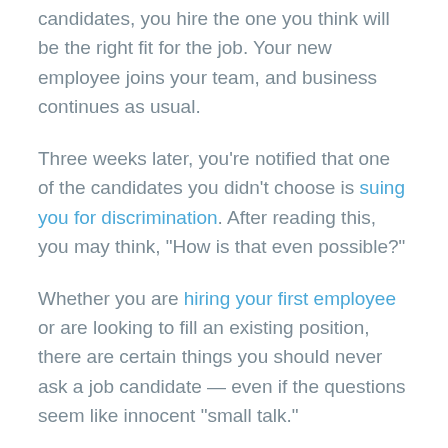candidates, you hire the one you think will be the right fit for the job. Your new employee joins your team, and business continues as usual.
Three weeks later, you're notified that one of the candidates you didn't choose is suing you for discrimination. After reading this, you may think, “How is that even possible?”
Whether you are hiring your first employee or are looking to fill an existing position, there are certain things you should never ask a job candidate — even if the questions seem like innocent “small talk.”
To help protect you and your business during your next interview, we’re breaking down the questions you should